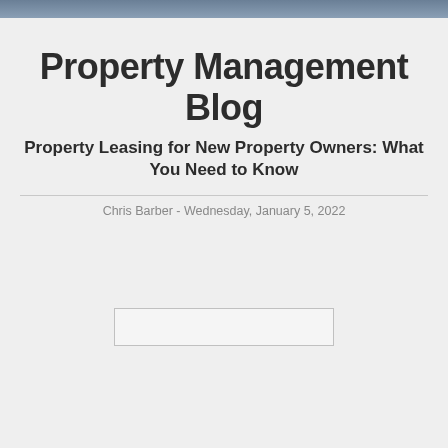Property Management Blog
Property Leasing for New Property Owners: What You Need to Know
Chris Barber - Wednesday, January 5, 2022
[Figure (other): Blank image placeholder rectangle]